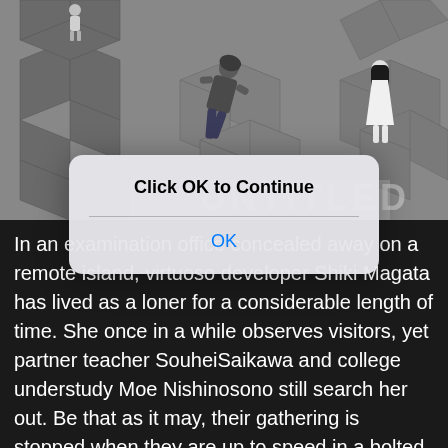[Figure (illustration): Anime-style illustration showing three characters: a person falling/floating in the center wearing dark clothes, a girl in white dress standing on the right, and another figure visible in the top left, set against a grey geometric architectural background with cube-like structures.]
Click OK to Continue
OK
In an examination office concealed away on a remote island, virtuoso developer Shiki Magata has lived as a loner for a considerable length of time. She once in a while observes visitors, yet partner teacher SouheiSaikawa and college understudy Moe Nishinosono still search her out. Be that as it may, their gathering is stopped when they are up to speed in a bolted room murder riddle. Everything